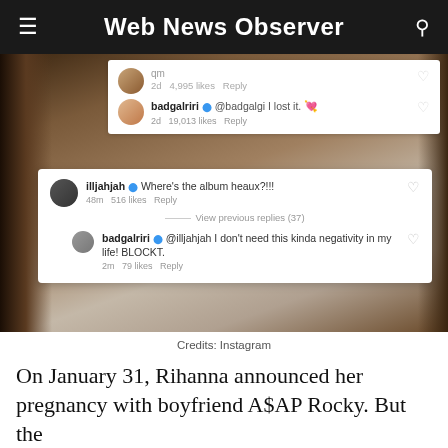Web News Observer
[Figure (screenshot): Screenshot of Instagram comments showing: user badgalriri replying '@badgalgi I lost it.' with 19,013 likes; user illjahjah asking 'Where's the album heaux?!!!' with 516 likes and 37 previous replies; badgalriri replying '@illjahjah I don't need this kinda negativity in my life! BLOCKT.' with 79 likes]
Credits: Instagram
On January 31, Rihanna announced her pregnancy with boyfriend A$AP Rocky. But the comments on her social media post read "Where's the album, sis?" as always.